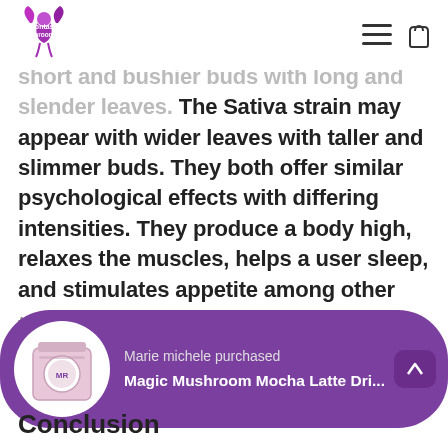Fontasy Shrooms logo and navigation
short and bushier buds with long and slender leaves. The Sativa strain may appear with wider leaves with taller and slimmer buds. They both offer similar psychological effects with differing intensities. They produce a body high, relaxes the muscles, helps a user sleep, and stimulates appetite among other useful benefits. The Indica strain however is best used at night while the Sativa strain is to be used during the day.
Conclusion
[Figure (infographic): Purple rounded popup notification showing 'Marie michele purchased' and 'Magic Mushroom Mocha Latte Dri...' with a product image of a pink bag with a circular emblem]